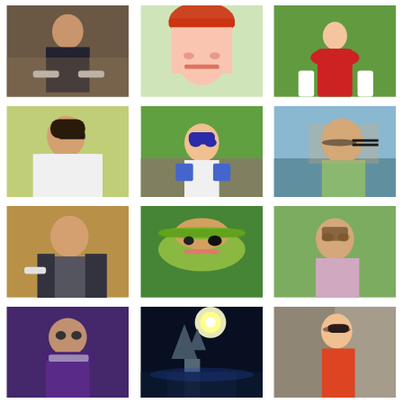[Figure (photo): Young man sitting on ground outdoors in dark clothing]
[Figure (photo): Anime-style girl with red/orange hair]
[Figure (photo): Small girl in red dress outdoors in field]
[Figure (photo): Handsome young man in white shirt posing]
[Figure (photo): Toddler boy with sunglasses sitting outdoors on green grass]
[Figure (photo): Young woman with sunglasses smiling, hair blowing in wind]
[Figure (photo): Young man in gray jacket leaning on railing]
[Figure (photo): Blonde woman in large green hat with sunglasses]
[Figure (photo): Young bearded man in floral shirt outdoors]
[Figure (photo): Bearded man in purple hoodie with sunglasses]
[Figure (photo): Sailing ship at night with full moon]
[Figure (photo): Woman in orange/red mini dress posing against brick wall]